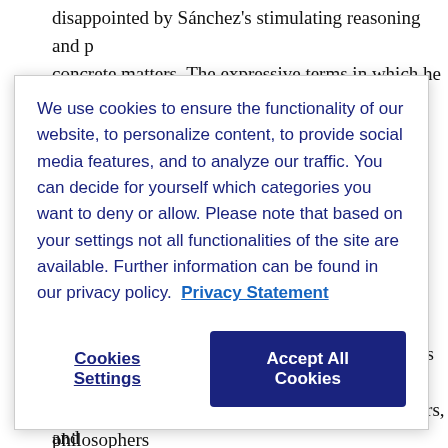disappointed by Sánchez's stimulating reasoning and p... concrete matters. The expressive terms in which he des...
[Figure (screenshot): Cookie consent popup overlay with message about cookie usage, a 'Privacy Statement' link, 'Cookies Settings' button, and 'Accept All Cookies' button.]
marriage contracts, conditional consent, donations betw... marriage, dispensations, obligations of the partners, and...
For historians of moral theology as well as philosophers... consider Sánchez's Opus morale in praecepta Decalogi,... resist the temptation in order to consider the other Jesu... of such importance that it must be added to the antholo... Leonardus Lessius (1554–1623). Ever since the Baysians...